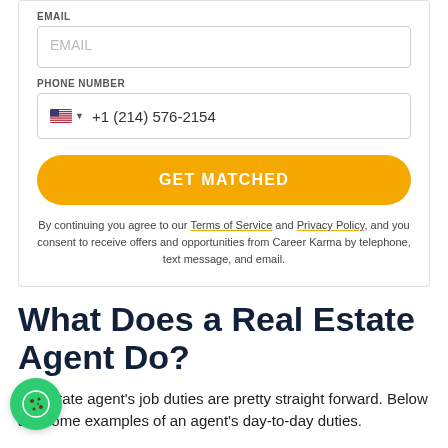EMAIL
EMAIL
PHONE NUMBER
+1 (214) 576-2154
GET MATCHED
By continuing you agree to our Terms of Service and Privacy Policy, and you consent to receive offers and opportunities from Career Karma by telephone, text message, and email.
What Does a Real Estate Agent Do?
A real estate agent's job duties are pretty straight forward. Below are some examples of an agent's day-to-day duties.